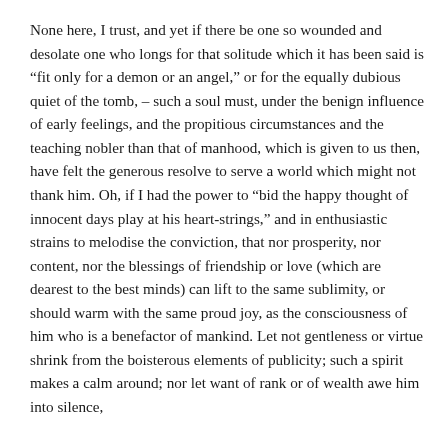None here, I trust, and yet if there be one so wounded and desolate one who longs for that solitude which it has been said is “fit only for a demon or an angel,” or for the equally dubious quiet of the tomb, – such a soul must, under the benign influence of early feelings, and the propitious circumstances and the teaching nobler than that of manhood, which is given to us then, have felt the generous resolve to serve a world which might not thank him. Oh, if I had the power to “bid the happy thought of innocent days play at his heart-strings,” and in enthusiastic strains to melodise the conviction, that nor prosperity, nor content, nor the blessings of friendship or love (which are dearest to the best minds) can lift to the same sublimity, or should warm with the same proud joy, as the consciousness of him who is a benefactor of mankind. Let not gentleness or virtue shrink from the boisterous elements of publicity; such a spirit makes a calm around; nor let want of rank or of wealth awe him into silence,